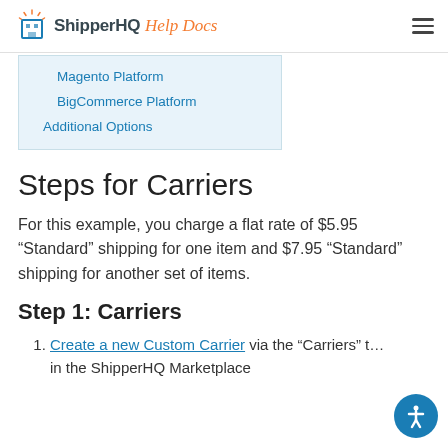ShipperHQ Help Docs
Magento Platform
BigCommerce Platform
Additional Options
Steps for Carriers
For this example, you charge a flat rate of $5.95 “Standard” shipping for one item and $7.95 “Standard” shipping for another set of items.
Step 1: Carriers
Create a new Custom Carrier via the “Carriers” tab in the ShipperHQ Marketplace